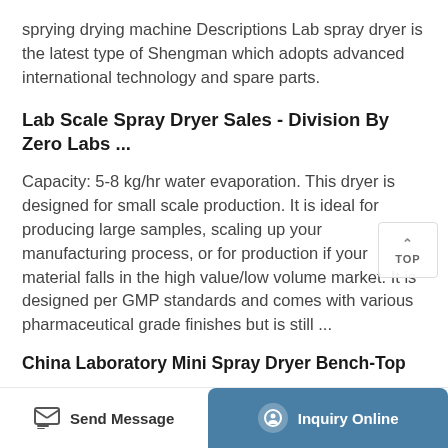sprying drying machine Descriptions Lab spray dryer is the latest type of Shengman which adopts advanced international technology and spare parts.
Lab Scale Spray Dryer Sales - Division By Zero Labs ...
Capacity: 5-8 kg/hr water evaporation. This dryer is designed for small scale production. It is ideal for producing large samples, scaling up your manufacturing process, or for production if your material falls in the high value/low volume market. It is designed per GMP standards and comes with various pharmaceutical grade finishes but is still ...
China Laboratory Mini Spray Dryer Bench-Top
Send Message   Inquiry Online